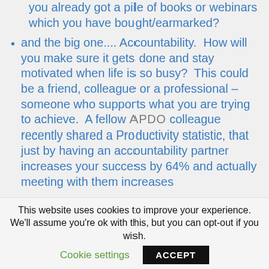you already got a pile of books or webinars which you have bought/earmarked?
and the big one.... Accountability.  How will you make sure it gets done and stay motivated when life is so busy?  This could be a friend, colleague or a professional – someone who supports what you are trying to achieve.  A fellow APDO colleague recently shared a Productivity statistic, that just by having an accountability partner increases your success by 64% and actually meeting with them increases
This website uses cookies to improve your experience. We'll assume you're ok with this, but you can opt-out if you wish.